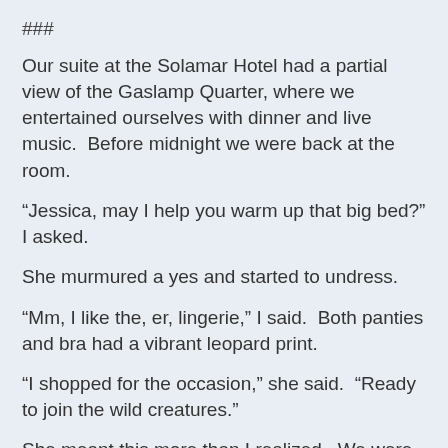###
Our suite at the Solamar Hotel had a partial view of the Gaslamp Quarter, where we entertained ourselves with dinner and live music.  Before midnight we were back at the room.
“Jessica, may I help you warm up that big bed?” I asked.
She murmured a yes and started to undress.
“Mm, I like the, er, lingerie,” I said.  Both panties and bra had a vibrant leopard print.
“I shopped for the occasion,” she said.  “Ready to join the wild creatures.”
She meant this more than I realized.  We were engaged in quiet foreplay when she said,